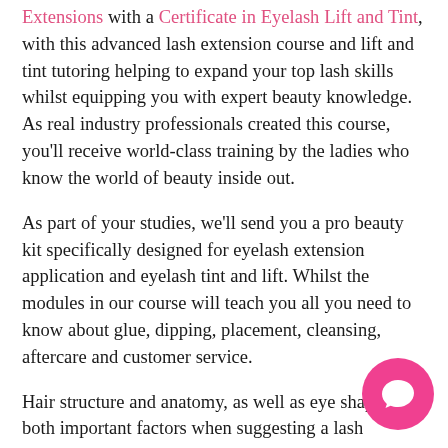Extensions with a Certificate in Eyelash Lift and Tint, with this advanced lash extension course and lift and tint tutoring helping to expand your top lash skills whilst equipping you with expert beauty knowledge. As real industry professionals created this course, you'll receive world-class training by the ladies who know the world of beauty inside out.
As part of your studies, we'll send you a pro beauty kit specifically designed for eyelash extension application and eyelash tint and lift. Whilst the modules in our course will teach you all you need to know about glue, dipping, placement, cleansing, aftercare and customer service.
Hair structure and anatomy, as well as eye shape, are both important factors when suggesting a lash treatment to your client, which you'll learn all about in this course, with specialised modules on how to advise your clients to achieve stunning results. Hygiene
[Figure (illustration): Pink circular chat/message bubble icon in the bottom-right corner of the page]